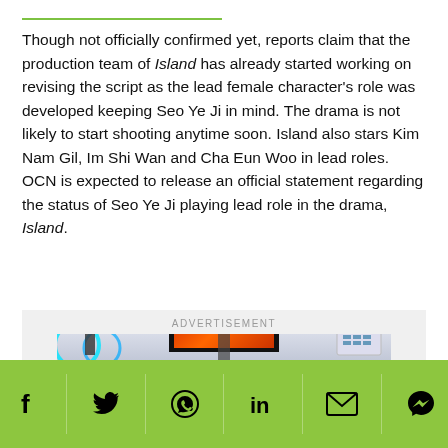Though not officially confirmed yet, reports claim that the production team of Island has already started working on revising the script as the lead female character's role was developed keeping Seo Ye Ji in mind. The drama is not likely to start shooting anytime soon. Island also stars Kim Nam Gil, Im Shi Wan and Cha Eun Woo in lead roles. OCN is expected to release an official statement regarding the status of Seo Ye Ji playing lead role in the drama, Island.
[Figure (screenshot): Advertisement banner showing a hallway with display screens and vending machines, with ADVERTISEMENT label above.]
Social share icons: Facebook, Twitter, WhatsApp, LinkedIn, Email, Messenger